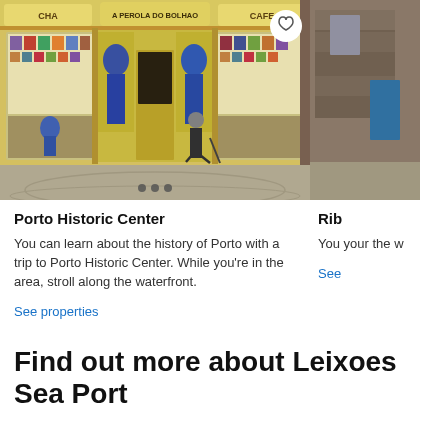[Figure (photo): Photo of Porto Historic Center - an ornate yellow shopfront 'A Perola do Bolhao' with CHA and CAFE signs, decorated with blue and white tile paintings, an elderly man walking with a cane in front]
[Figure (photo): Partially visible photo of Ribeira area - stone building streetview, partially cropped]
Porto Historic Center
Rib
You can learn about the history of Porto with a trip to Porto Historic Center. While you're in the area, stroll along the waterfront.
You your the w
See properties
See
Find out more about Leixoes Sea Port